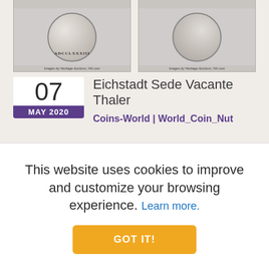[Figure (photo): Two coin images (obverse and reverse of Eichstadt Sede Vacante Thaler) with 'Images by Heritage Auctions, HA.com' credits below each]
07
MAY 2020
Eichstadt Sede Vacante Thaler
Coins-World | World_Coin_Nut
Going into this year's Heritage Central States auction there weren't very many lots that had caught my attention. I had only flagged 4 lots on my watch list pre-sale and the one below was the only one that I felt I "needed".The bishopric of Eichstadt (Eichstätt) was located in central Bavaria, south of Nuremberg. It was established around an old Roman station by St. Boniface about 745ad. The first bishop, St. Willibald, and his sister, St. Walburga, who was associated with him, were of royal Anglo
This website uses cookies to improve and customize your browsing experience. Learn more.
GOT IT!